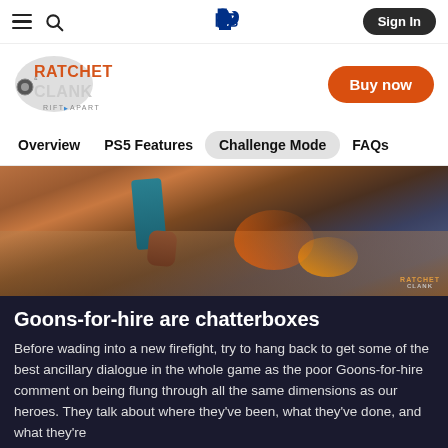PlayStation navigation bar with hamburger menu, search, PlayStation logo, and Sign In button
[Figure (logo): Ratchet & Clank Rift Apart logo]
Buy now
Overview
PS5 Features
Challenge Mode
FAQs
[Figure (screenshot): In-game screenshot from Ratchet & Clank: Rift Apart showing character feet and combat scene]
Goons-for-hire are chatterboxes
Before wading into a new firefight, try to hang back to get some of the best ancillary dialogue in the whole game as the poor Goons-for-hire comment on being flung through all the same dimensions as our heroes. They talk about where they've been, what they've done, and what they're